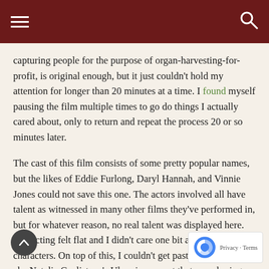[Navigation header with hamburger menu and search icon]
capturing people for the purpose of organ-harvesting-for-profit, is original enough, but it just couldn't hold my attention for longer than 20 minutes at a time. I found myself pausing the film multiple times to go do things I actually cared about, only to return and repeat the process 20 or so minutes later.
The cast of this film consists of some pretty popular names, but the likes of Eddie Furlong, Daryl Hannah, and Vinnie Jones could not save this one. The actors involved all have talent as witnessed in many other films they've performed in, but for whatever reason, no real talent was displayed here. The acting felt flat and I didn't care one bit about any of the characters. On top of this, I couldn't get past Natalie Burn aka Natalia Guslistaya's Ukranian accent that was shining through her forced American tongue throughout the entire film.